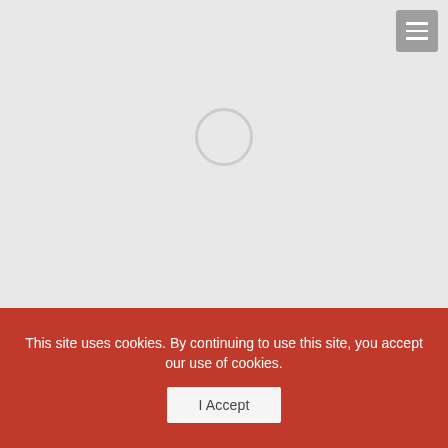[Figure (screenshot): Gray loading area with a circular spinner icon in the center, and a hamburger menu button (three horizontal lines) in the top-right corner on a gray rounded-square background.]
This site uses cookies. By continuing to use this site, you accept our use of cookies.
I Accept